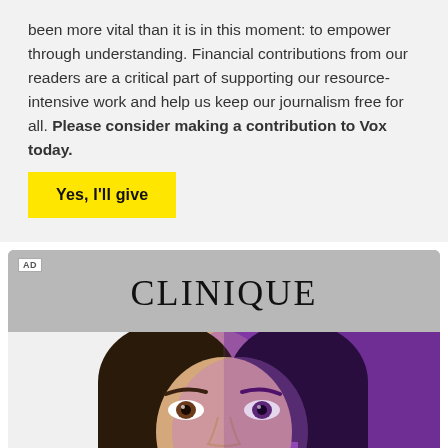been more vital than it is in this moment: to empower through understanding. Financial contributions from our readers are a critical part of supporting our resource-intensive work and help us keep our journalism free for all. Please consider making a contribution to Vox today.
Yes, I'll give
[Figure (photo): Clinique advertisement banner showing a woman's face split down the middle — left half in natural lighting on white background, right half with purple/violet lighting on dark background. AD label in top left corner.]